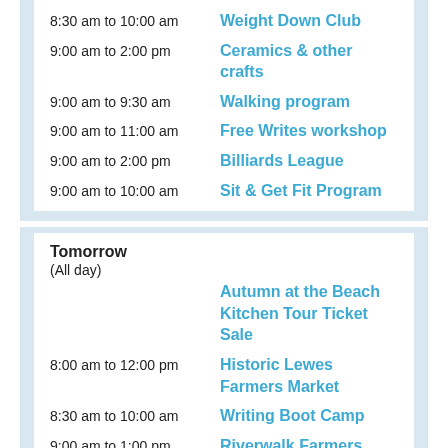8:30 am to 10:00 am — Weight Down Club
9:00 am to 2:00 pm — Ceramics & other crafts
9:00 am to 9:30 am — Walking program
9:00 am to 11:00 am — Free Writes workshop
9:00 am to 2:00 pm — Billiards League
9:00 am to 10:00 am — Sit & Get Fit Program
Tomorrow
(All day) — Autumn at the Beach Kitchen Tour Ticket Sale
8:00 am to 12:00 pm — Historic Lewes Farmers Market
8:30 am to 10:00 am — Writing Boot Camp
9:00 am to 1:00 pm — Riverwalk Farmers Market
10:00 am to 4:00 pm — LHS Antique Shop open